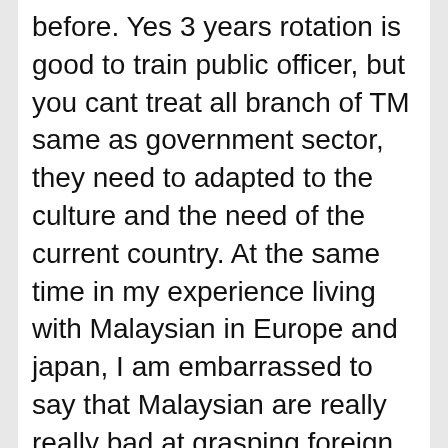before. Yes 3 years rotation is good to train public officer, but you cant treat all branch of TM same as government sector, they need to adapted to the culture and the need of the current country. At the same time in my experience living with Malaysian in Europe and japan, I am embarrassed to say that Malaysian are really really bad at grasping foreign language except for English. Give them 5 years still isn't enough for them to learn the new language. So in this case it is more productive and safe to rotate office staff , public relation officer is a different case especially for japan.
I hope that you could be patient and